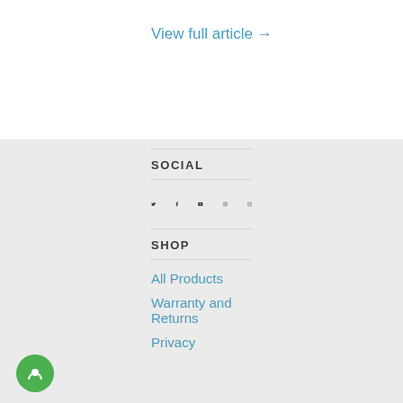View full article →
SOCIAL
[Figure (infographic): Social media icons: Twitter, Facebook, YouTube, Instagram, Email]
SHOP
All Products
Warranty and Returns
Privacy